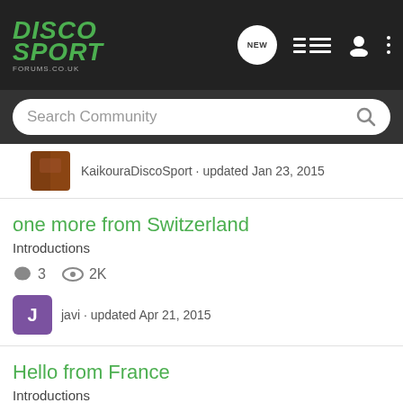DiscoSport Forums.co.uk
Search Community
KaikouraDiscoSport · updated Jan 23, 2015
one more from Switzerland
Introductions
3   2K
javi · updated Apr 21, 2015
Hello from France
Introductions
5   2K
PYT · updated Nov 30, 2017